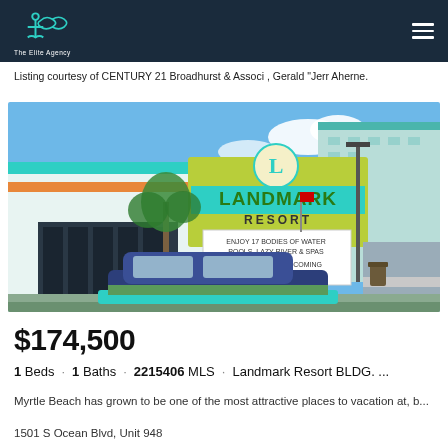[Figure (logo): The Elite Agency logo — anchor and infinity symbol in teal, white text on dark navy header]
Listing courtesy of CENTURY 21 Broadhurst & Associ , Gerald "Jerr Aherne.
[Figure (photo): Exterior photo of Landmark Resort building with sign reading LANDMARK RESORT, palm trees, blue sky, car in foreground]
$174,500
1 Beds · 1 Baths · 2215406 MLS · Landmark Resort BLDG. ...
Myrtle Beach has grown to be one of the most attractive places to vacation at, b...
1501 S Ocean Blvd, Unit 948